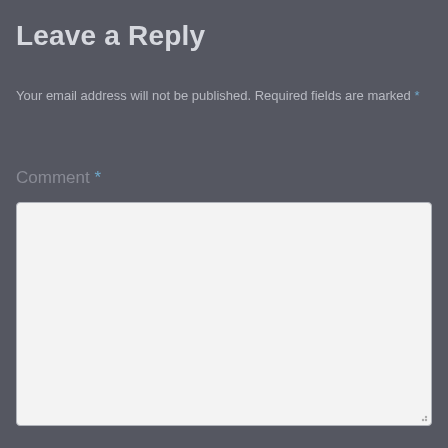Leave a Reply
Your email address will not be published. Required fields are marked *
Comment *
[Figure (screenshot): Empty comment text area input field with light gray background and rounded corners, with a resize handle in the bottom-right corner]